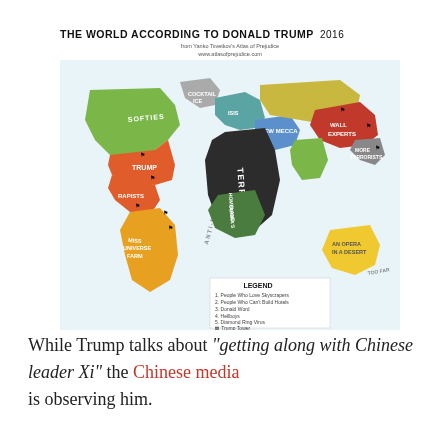[Figure (map): Satirical world map titled 'THE WORLD ACCORDING TO DONALD TRUMP 2016' with regions labeled with satirical names such as SOFTIES (Canada), TRUMP (USA), RAPISTS (Mexico), MISS UNIVERSE FARM (South America), TERRORISTS (Middle East/Africa), ISIS SLAYERS (Europe), NEW MECCA (Middle East), WALL EXPERTS (China), OBAMA'S HOMELAND (Africa), AN OPERA IN A DESERT (Australia), ANTI-MUSLIM MOAT (Atlantic Ocean). Includes a legend with 6 items about Trump-related symbols.]
While Trump talks about "getting along with Chinese leader Xi" the Chinese media is observing him.